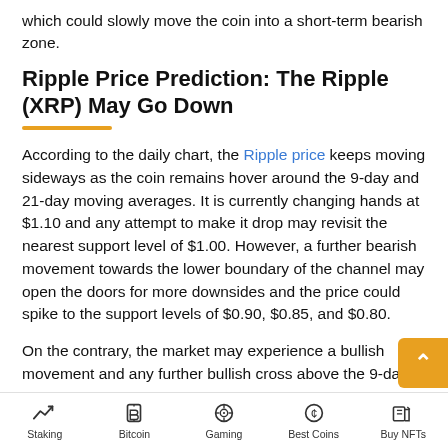which could slowly move the coin into a short-term bearish zone.
Ripple Price Prediction: The Ripple (XRP) May Go Down
According to the daily chart, the Ripple price keeps moving sideways as the coin remains hover around the 9-day and 21-day moving averages. It is currently changing hands at $1.10 and any attempt to make it drop may revisit the nearest support level of $1.00. However, a further bearish movement towards the lower boundary of the channel may open the doors for more downsides and the price could spike to the support levels of $0.90, $0.85, and $0.80.
On the contrary, the market may experience a bullish movement and any further bullish cross above the 9-day and 21-day moving averages...
Staking | Bitcoin | Gaming | Best Coins | Buy NFTs